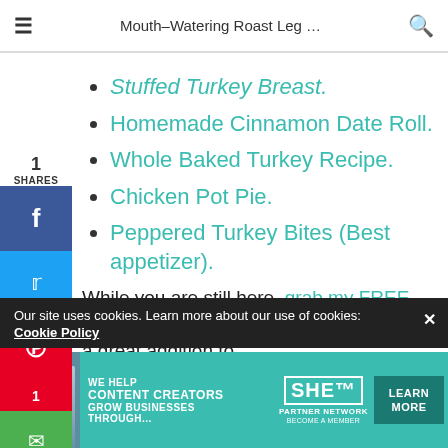Mouth–Watering Roast Leg …
Stuffed Turkey Breast.
Homemade Cinnamon Date Roll.
Whole Baked Turkey Recipe.
Chicken Pot Pie.
Peppered Turkey Bites (Best appetizer).
While you are still here, grab my FREE (5) spinach and recipe bundle. It would be a great addition to your diet…
Our site uses cookies. Learn more about our use of cookies: Cookie Policy
[Figure (infographic): SHE Partner Network advertisement banner with person, text 'We help content creators grow businesses through…', SHE logo, and Learn More button]